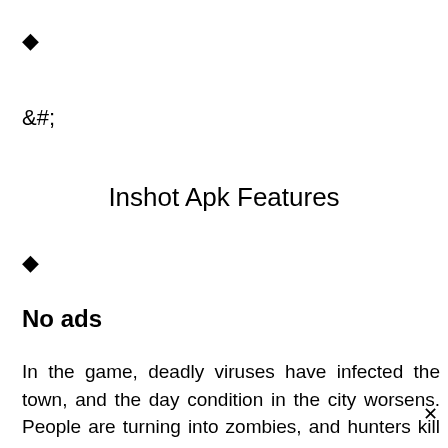◆
&#;
Inshot Apk Features
◆
No ads
In the game, deadly viruses have infected the town, and the day condition in the city worsens. People are turning into zombies, and hunters kill the one who is avoiding becom